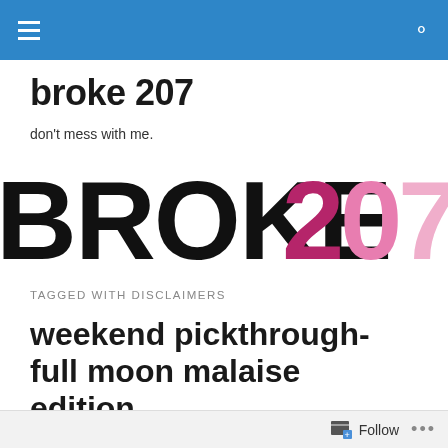broke 207 — navigation header with hamburger menu and search icon
broke 207
don't mess with me.
[Figure (logo): Large bold logo reading BROKE207, with BROKE in black and 207 in pink/magenta overlapping colors]
TAGGED WITH DISCLAIMERS
weekend pickthrough- full moon malaise edition.
[Figure (photo): Partial dark/black image preview at bottom of page]
Follow ...